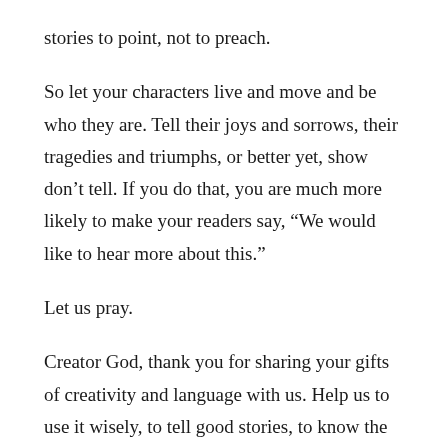stories to point, not to preach.
So let your characters live and move and be who they are. Tell their joys and sorrows, their tragedies and triumphs, or better yet, show don’t tell. If you do that, you are much more likely to make your readers say, “We would like to hear more about this.”
Let us pray.
Creator God, thank you for sharing your gifts of creativity and language with us. Help us to use it wisely, to tell good stories, to know the words you want us to share that will make our stories and characters come alive for our readers.